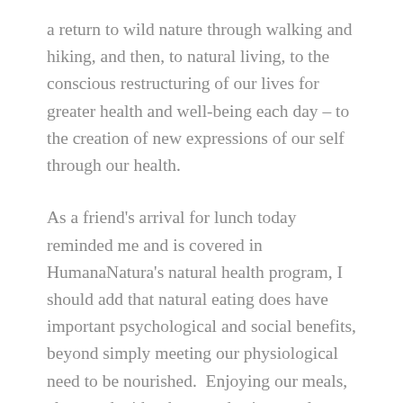a return to wild nature through walking and hiking, and then, to natural living, to the conscious restructuring of our lives for greater health and well-being each day – to the creation of new expressions of our self through our health.
As a friend's arrival for lunch today reminded me and is covered in HumanaNatura's natural health program, I should add that natural eating does have important psychological and social benefits, beyond simply meeting our physiological need to be nourished.  Enjoying our meals, alone and with others, and using meals as part of our celebrations of family and community, are definitely not forms of the nutrition fixation I am writing about.  It is very important to eat enjoyably and to use our meals to bond with and enjoy the company of others.  But enjoyment and bonding are really more about natural